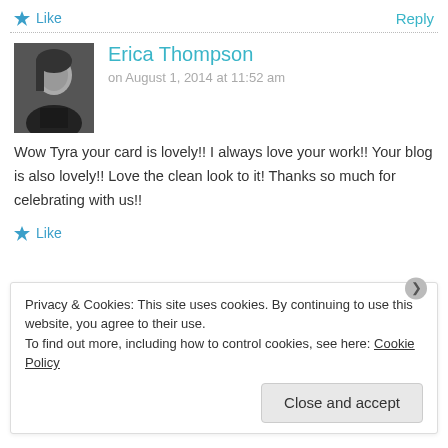★ Like
Reply
[Figure (photo): Black and white profile photo of Erica Thompson]
Erica Thompson
on August 1, 2014 at 11:52 am
Wow Tyra your card is lovely!! I always love your work!! Your blog is also lovely!! Love the clean look to it! Thanks so much for celebrating with us!!
★ Like
Privacy & Cookies: This site uses cookies. By continuing to use this website, you agree to their use.
To find out more, including how to control cookies, see here: Cookie Policy
Close and accept